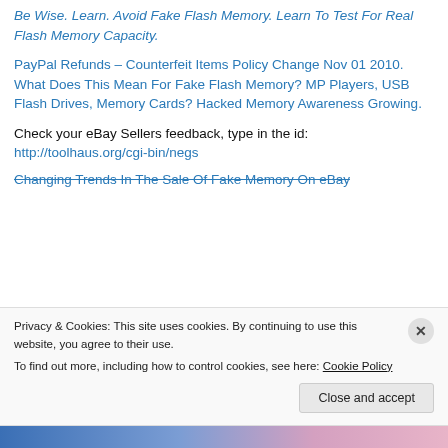Be Wise. Learn. Avoid Fake Flash Memory. Learn To Test For Real Flash Memory Capacity.
PayPal Refunds – Counterfeit Items Policy Change Nov 01 2010. What Does This Mean For Fake Flash Memory? MP Players, USB Flash Drives, Memory Cards? Hacked Memory Awareness Growing.
Check your eBay Sellers feedback, type in the id:
http://toolhaus.org/cgi-bin/negs
Changing Trends In The Sale Of Fake Memory On eBay
Privacy & Cookies: This site uses cookies. By continuing to use this website, you agree to their use.
To find out more, including how to control cookies, see here: Cookie Policy
Close and accept